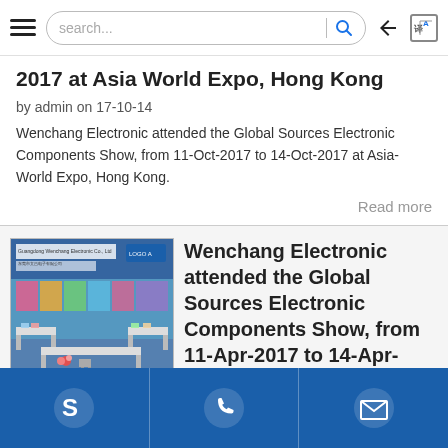search...
2017 at Asia World Expo, Hong Kong
by admin on 17-10-14
Wenchang Electronic attended the Global Sources Electronic Components Show, from 11-Oct-2017 to 14-Oct-2017 at Asia-World Expo, Hong Kong.
Read more
[Figure (photo): Exhibition booth of Wenchang Electronic at a trade show, showing display panels and tables arranged in a U-shape on blue flooring.]
Wenchang Electronic attended the Global Sources Electronic Components Show, from 11-Apr-2017 to 14-Apr-
Skype | Phone | Email